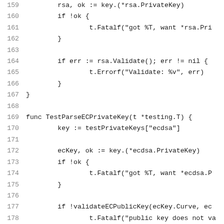Code listing lines 159-180, Go source code showing RSA and EC private key parsing test functions